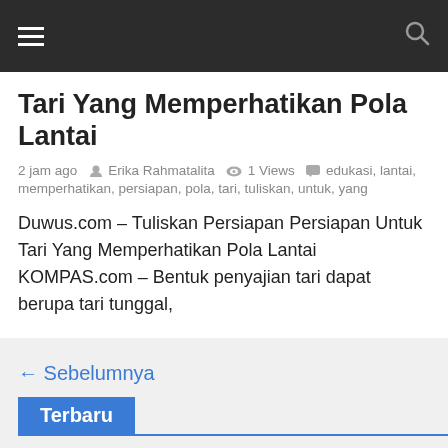☰  🔍
Tari Yang Memperhatikan Pola Lantai
2 jam ago  Erika Rahmatalita  1 Views  edukasi, lantai, memperhatikan, persiapan, pola, tari, tuliskan, untuk, yang
Duwus.com – Tuliskan Persiapan Persiapan Untuk Tari Yang Memperhatikan Pola Lantai KOMPAS.com – Bentuk penyajian tari dapat berupa tari tunggal,
← Sebelumnya
Terbaru
Dibawah Ini Yang Bukan Merupakan Aspek Pemasaran Adalah